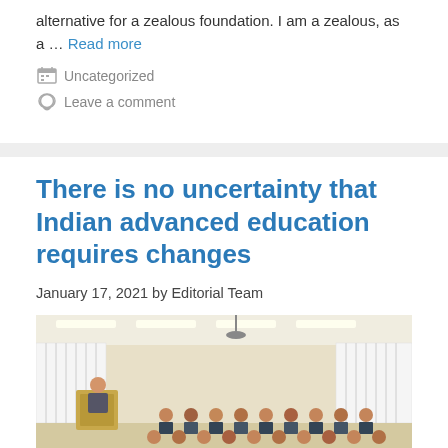alternative for a zealous foundation. I am a zealous, as a … Read more
Uncategorized
Leave a comment
There is no uncertainty that Indian advanced education requires changes
January 17, 2021 by Editorial Team
[Figure (photo): A lecturer at a podium addressing a large audience of students in a lecture hall with white curtains and fluorescent lighting.]